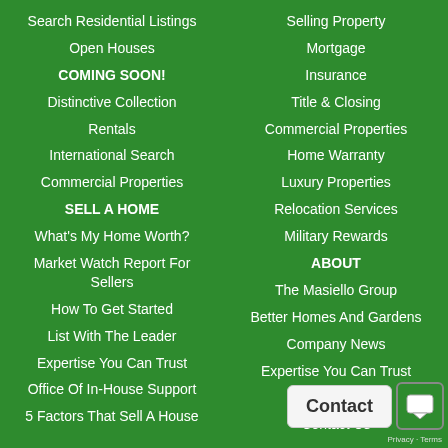Search Residential Listings
Open Houses
COMING SOON!
Distinctive Collection
Rentals
International Search
Commercial Properties
SELL A HOME
What's My Home Worth?
Market Watch Report For Sellers
How To Get Started
List With The Leader
Expertise You Can Trust
Office Of In-House Support
5 Factors That Sell A House
Selling Property
Mortgage
Insurance
Title & Closing
Commercial Properties
Home Warranty
Luxury Properties
Relocation Services
Military Rewards
ABOUT
The Masiello Group
Better Homes And Gardens
Company News
Expertise You Can Trust
Our Terms
Contact Us